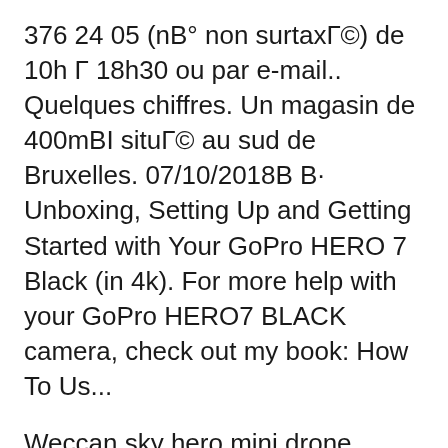376 24 05 (nB° non surtaxГ©) de 10h Г 18h30 ou par e-mail.. Quelques chiffres. Un magasin de 400mBI situГ© au sud de Bruxelles. 07/10/2018В В· Unboxing, Setting Up and Getting Started with Your GoPro HERO 7 Black (in 4k). For more help with your GoPro HERO7 BLACK camera, check out my book: How To Us...
Weccan sky hero mini drone review hd wallpaper weccan rcdrone 2 4g rc drone user manual 15 sg f8 userman r1 egate 19621 2 4ghz night fury drone rort ces 2016 rort ces Para descargar este manual de usuario en otro idioma, visite Port HERO 10. Porte de la batterie 11. Bouton Marche/ArrГЄt Wi-Fi 12. Alarme